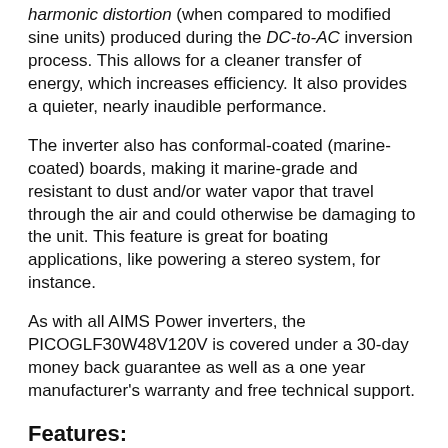harmonic distortion (when compared to modified sine units) produced during the DC-to-AC inversion process. This allows for a cleaner transfer of energy, which increases efficiency. It also provides a quieter, nearly inaudible performance.
The inverter also has conformal-coated (marine-coated) boards, making it marine-grade and resistant to dust and/or water vapor that travel through the air and could otherwise be damaging to the unit. This feature is great for boating applications, like powering a stereo system, for instance.
As with all AIMS Power inverters, the PICOGLF30W48V120V is covered under a 30-day money back guarantee as well as a one year manufacturer's warranty and free technical support.
Features: